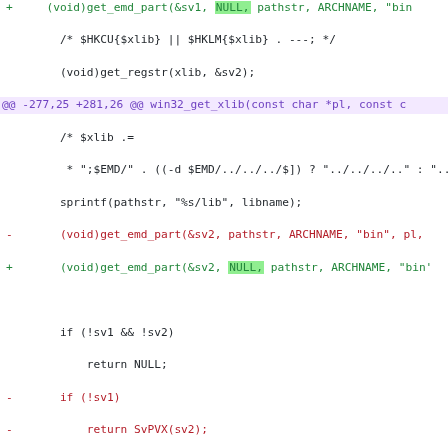[Figure (screenshot): A unified diff / code patch showing changes to a C source file, with added lines in green, removed lines in red, and a hunk header in purple. The diff modifies win32_get_xlib function logic.]